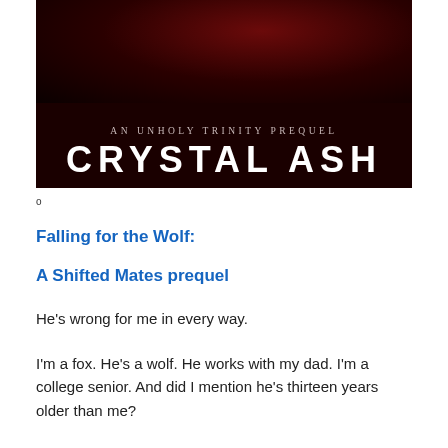[Figure (illustration): Book cover image with dark red background showing text 'AN UNHOLY TRINITY PREQUEL' in small caps and 'CRYSTAL ASH' in large bold white letters]
o
Falling for the Wolf:
A Shifted Mates prequel
He's wrong for me in every way.
I'm a fox. He's a wolf. He works with my dad. I'm a college senior. And did I mention he's thirteen years older than me?